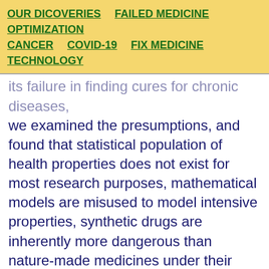OUR DICOVERIES   FAILED MEDICINE   OPTIMIZATION   CANCER   COVID-19   FIX MEDICINE   TECHNOLOGY
its failure in finding cures for chronic diseases, we examined the presumptions, and found that statistical population of health properties does not exist for most research purposes, mathematical models are misused to model intensive properties, synthetic drugs are inherently more dangerous than nature-made medicines under their respective application conditions, binary disease classification introduced excessive errors, and reductionist treatments are inferior and inherently dangerous. We found that clinical trials are valid only for research where treatment effect is much stronger than the total effects of all interfering or